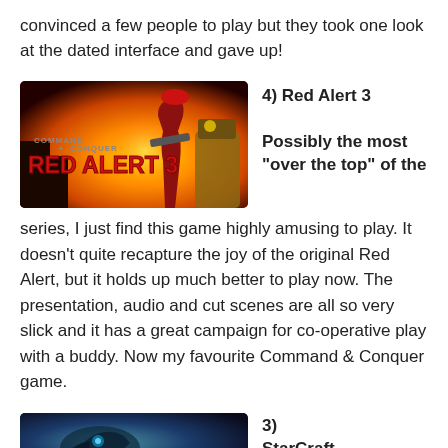convinced a few people to play but they took one look at the dated interface and gave up!
4) Red Alert 3
[Figure (illustration): Command & Conquer Red Alert 3 game cover art showing a woman in red with a weapon and the game title in red letters on an orange/golden background]
Possibly the most “over the top” of the series, I just find this game highly amusing to play. It doesn’t quite recapture the joy of the original Red Alert, but it holds up much better to play now. The presentation, audio and cut scenes are all so very slick and it has a great campaign for co-operative play with a buddy. Now my favourite Command & Conquer game.
3) StarCraft
[Figure (illustration): StarCraft game cover art showing a dark sci-fi scene]